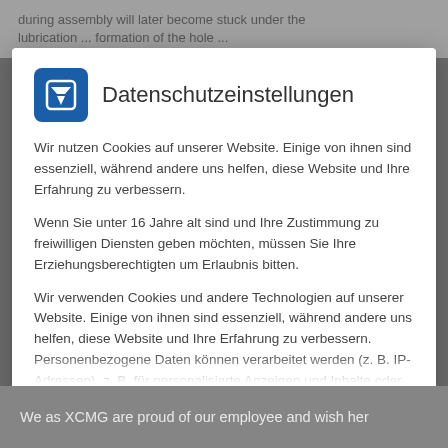during assembly will later become stuck under the ... lubrication ... formation of the hole ...
Datenschutzeinstellungen
Wir nutzen Cookies auf unserer Website. Einige von ihnen sind essenziell, während andere uns helfen, diese Website und Ihre Erfahrung zu verbessern.
Wenn Sie unter 16 Jahre alt sind und Ihre Zustimmung zu freiwilligen Diensten geben möchten, müssen Sie Ihre Erziehungsberechtigten um Erlaubnis bitten.
Wir verwenden Cookies und andere Technologien auf unserer Website. Einige von ihnen sind essenziell, während andere uns helfen, diese Website und Ihre Erfahrung zu verbessern. Personenbezogene Daten können verarbeitet werden (z. B. IP-Adressen), z. B. für personalisierte Anzeigen und Inhalte oder Anzeigen- und
Essenziell
Statistiken
Externe Medien
We as XCMG are proud of our employee and wish her